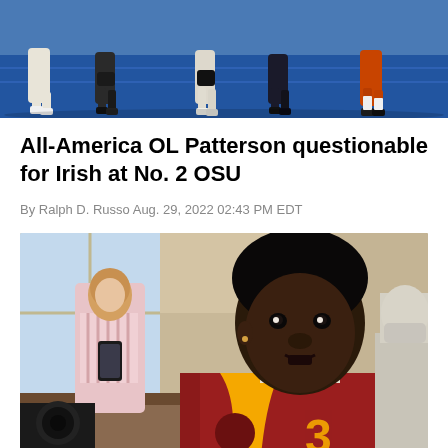[Figure (photo): Football players crouched at line of scrimmage on blue field turf, legs and cleats visible, wearing dark and light uniforms]
All-America OL Patterson questionable for Irish at No. 2 OSU
By Ralph D. Russo Aug. 29, 2022 02:43 PM EDT
[Figure (photo): Young Black man in USC Trojans red and gold jersey number 3 speaking at what appears to be a press conference or media event, with a woman in pink striped shirt looking at phone in background]